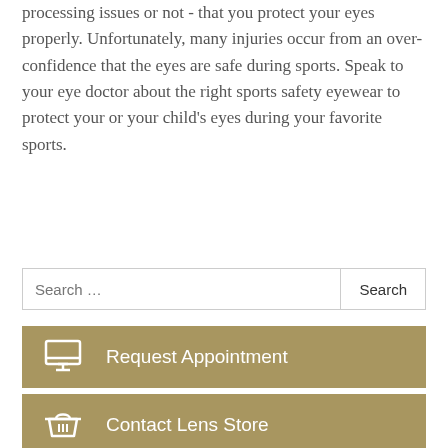processing issues or not - that you protect your eyes properly. Unfortunately, many injuries occur from an over-confidence that the eyes are safe during sports. Speak to your eye doctor about the right sports safety eyewear to protect your or your child's eyes during your favorite sports.
Search …
Request Appointment
Contact Lens Store
Patient Portal